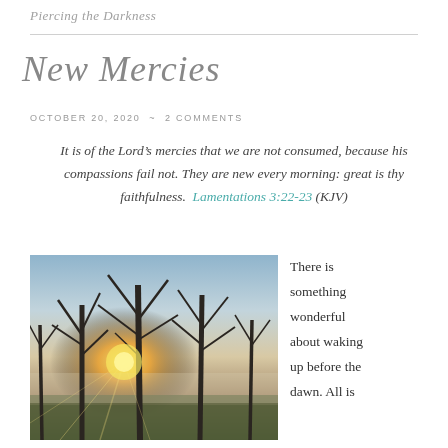Piercing the Darkness
New Mercies
OCTOBER 20, 2020  ~  2 COMMENTS
It is of the Lord’s mercies that we are not consumed, because his compassions fail not. They are new every morning: great is thy faithfulness.  Lamentations 3:22-23 (KJV)
[Figure (photo): A misty sunrise through bare winter trees in a field, with golden light rays visible through the branches.]
There is something wonderful about waking up before the dawn. All is